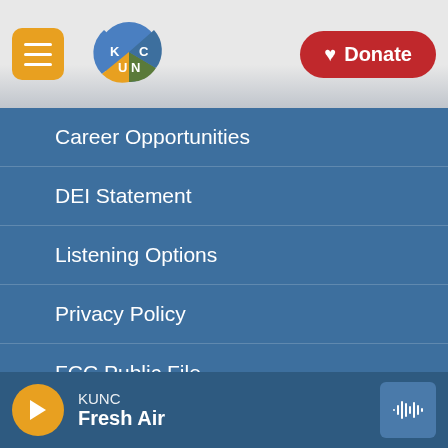[Figure (logo): KUNC radio station logo - colorful circular design with K, U, N, C letters in blue, orange, green segments]
Career Opportunities
DEI Statement
Listening Options
Privacy Policy
FCC Public File
Contact Us
Manage Your Membership
Colorado Sound
KUNC
Fresh Air